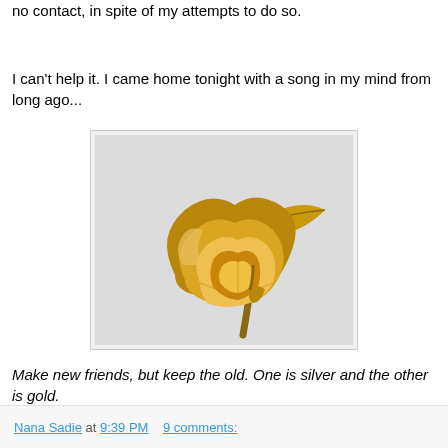no contact, in spite of my attempts to do so.
I can't help it. I came home tonight with a song in my mind from long ago...
[Figure (photo): A golden metallic rose with gold-plated petals, leaves, and stem, photographed against a white/light grey background.]
Make new friends, but keep the old. One is silver and the other is gold.
(((hugs)))
Nana Sadie at 9:39 PM   9 comments: